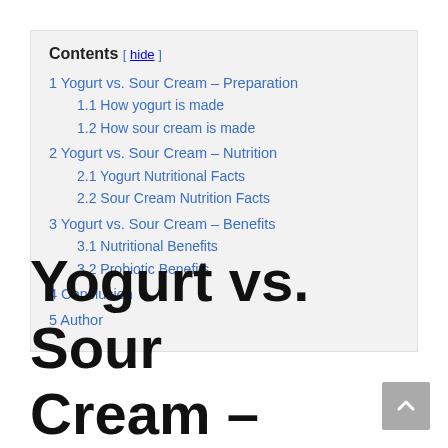Contents [ hide ]
1 Yogurt vs. Sour Cream – Preparation
1.1 How yogurt is made
1.2 How sour cream is made
2 Yogurt vs. Sour Cream – Nutrition
2.1 Yogurt Nutritional Facts
2.2 Sour Cream Nutrition Facts
3 Yogurt vs. Sour Cream – Benefits
3.1 Nutritional Benefits
3.2 Probiotic Benefits
4 Conclusion
5 Author
Yogurt vs. Sour